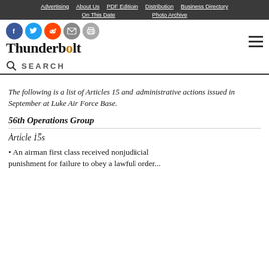Advertising | About Us | PDF Edition | Distribution | Business Directory | On This Date | Photo Archive
[Figure (logo): Thunderbolt newspaper logo with social media icons (Facebook, Twitter, Reddit, Email, Print)]
SEARCH
The following is a list of Articles 15 and administrative actions issued in September at Luke Air Force Base.
56th Operations Group
Article 15s
• An airman first class received nonjudicial punishment for failure to obey a lawful order...